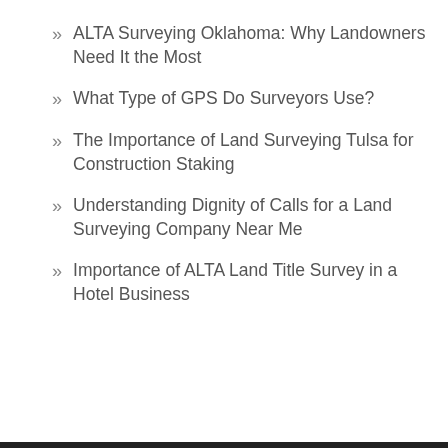ALTA Surveying Oklahoma: Why Landowners Need It the Most
What Type of GPS Do Surveyors Use?
The Importance of Land Surveying Tulsa for Construction Staking
Understanding Dignity of Calls for a Land Surveying Company Near Me
Importance of ALTA Land Title Survey in a Hotel Business